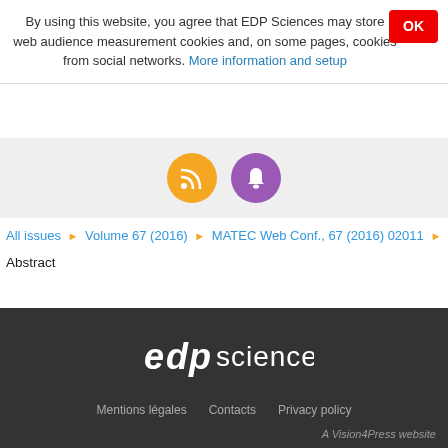By using this website, you agree that EDP Sciences may store web audience measurement cookies and, on some pages, cookies from social networks. More information and setup
[Figure (infographic): Orange RSS feed icon circle and purple notification bell icon circle]
All issues › Volume 67 (2016) › MATEC Web Conf., 67 (2016) 02011 ›
Abstract
Back to top
[Figure (logo): EDP Sciences logo in white on dark background]
Mentions légales   Contacts   Privacy policy
A Vision4Press website